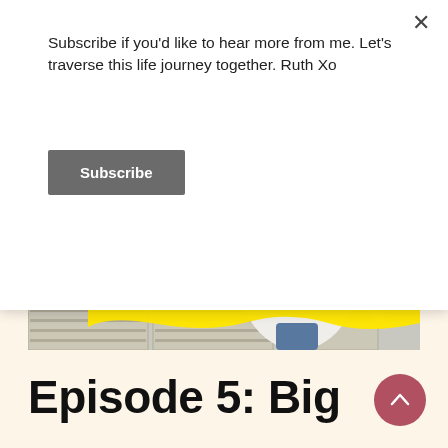Subscribe if you'd like to hear more from me. Let's traverse this life journey together. Ruth Xo
Subscribe
[Figure (photo): Woman in a white blouse and straw hat standing in front of white window shutters, smiling. Yellow brushstroke graphic overlaid on the lower portion of the image.]
Episode 5: Big